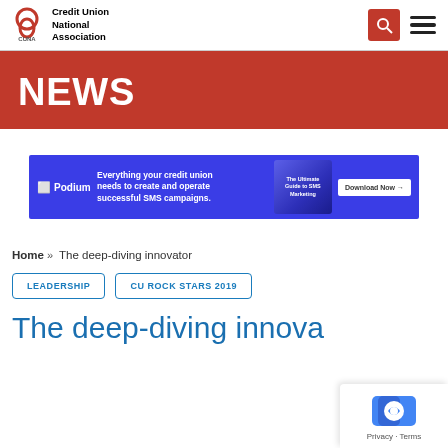Credit Union National Association (CUNA) — header with logo, search, and menu icons
NEWS
[Figure (infographic): Podium advertisement banner: 'Everything your credit union needs to create and operate successful SMS campaigns.' with Download Now button]
Home » The deep-diving innovator
LEADERSHIP
CU ROCK STARS 2019
The deep-diving innova…